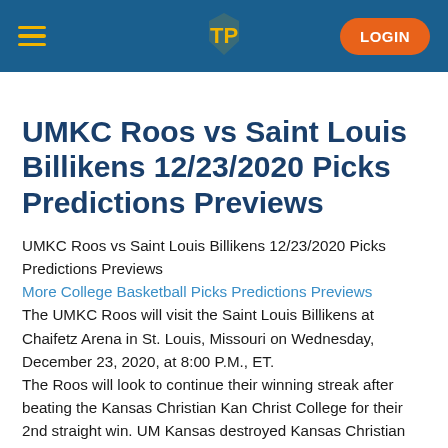TP LOGIN
UMKC Roos vs Saint Louis Billikens 12/23/2020 Picks Predictions Previews
UMKC Roos vs Saint Louis Billikens 12/23/2020 Picks Predictions Previews
More College Basketball Picks Predictions Previews
The UMKC Roos will visit the Saint Louis Billikens at Chaifetz Arena in St. Louis, Missouri on Wednesday, December 23, 2020, at 8:00 P.M., ET.
The Roos will look to continue their winning streak after beating the Kansas Christian Kan Christ College for their 2nd straight win. UM Kansas destroyed Kansas Christian